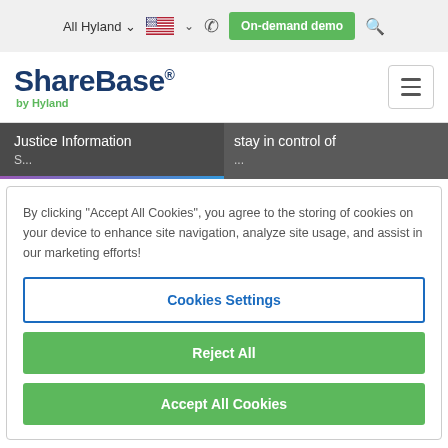All Hyland  [flag] [phone] On-demand demo [search]
[Figure (logo): ShareBase by Hyland logo with hamburger menu icon on right]
[Figure (screenshot): Hero banner strip showing 'Justice Information' on left panel and 'stay in control of' on right panel]
By clicking "Accept All Cookies", you agree to the storing of cookies on your device to enhance site navigation, analyze site usage, and assist in our marketing efforts!
Cookies Settings
Reject All
Accept All Cookies